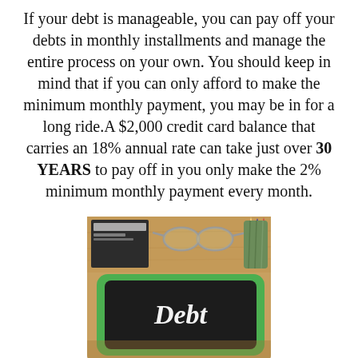If your debt is manageable, you can pay off your debts in monthly installments and manage the entire process on your own. You should keep in mind that if you can only afford to make the minimum monthly payment, you may be in for a long ride. A $2,000 credit card balance that carries an 18% annual rate can take just over 30 YEARS to pay off in you only make the 2% minimum monthly payment every month.
[Figure (photo): Photo of a green-bordered tablet displaying the word 'Debt' in white italic text on a dark chalkboard-style screen, placed on a wooden desk with a notebook, glasses, and a pencil holder in the background.]